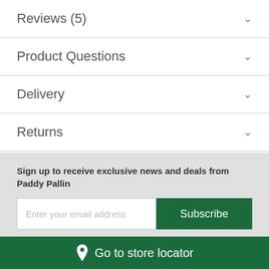Reviews (5)
Product Questions
Delivery
Returns
Lifetime Club Membership
Sign up to receive exclusive news and deals from Paddy Pallin
Enter your email address
Subscribe
Go to store locator